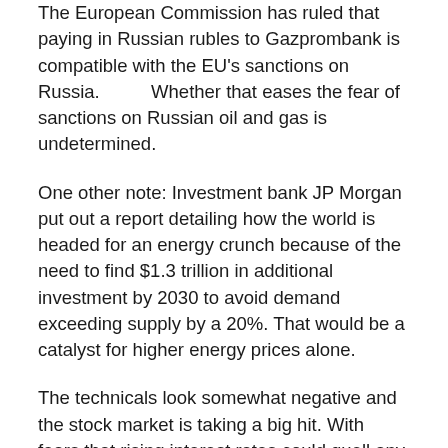The European Commission has ruled that paying in Russian rubles to Gazprombank is compatible with the EU's sanctions on Russia. Whether that eases the fear of sanctions on Russian oil and gas is undetermined.
One other note: Investment bank JP Morgan put out a report detailing how the world is headed for an energy crunch because of the need to find $1.3 trillion in additional investment by 2030 to avoid demand exceeding supply by a 20%. That would be a catalyst for higher energy prices alone.
The technicals look somewhat negative and the stock market is taking a big hit. With fears that rising interest rates could quell any recovery, oil and gas are now falling on fears of an induced recession from the Fed. Rising Omicron cases do not appear to be an issue, at least not yet. A break of $100 could send WTI oil down to $95.